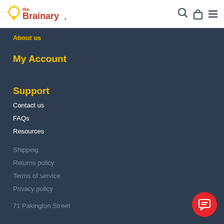the Brainary [logo] [search icon] [bag icon] [menu icon]
About us
My Account
Support
Contact us
FAQs
Resources
Shipping
Returns policy
Terms of service
Privacy policy
71 Pakington Street